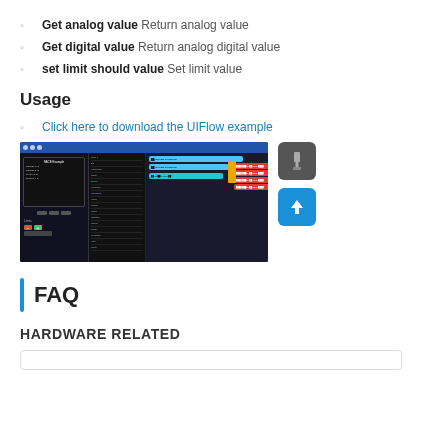Get analog value Return analog value
Get digital value Return analog digital value
set limit should value Set limit value
Usage
Click here to download the UIFlow example
[Figure (screenshot): UIFlow IDE screenshot showing a block programming environment with sensor readings and colored code blocks on a dark background]
[Figure (photo): USB icon on dark gray rounded square background]
[Figure (photo): Upload/cloud icon on blue rounded square background]
FAQ
HARDWARE RELATED